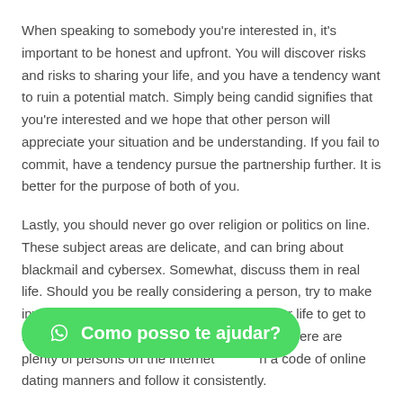When speaking to somebody you're interested in, it's important to be honest and upfront. You will discover risks and risks to sharing your life, and you have a tendency want to ruin a potential match. Simply being candid signifies that you're interested and we hope that other person will appreciate your situation and be understanding. If you fail to commit, have a tendency pursue the partnership further. It is better for the purpose of both of you.
Lastly, you should never go over religion or politics on line. These subject areas are delicate, and can bring about blackmail and cybersex. Somewhat, discuss them in real life. Should you be really considering a person, try to make investments a few times in his or perhaps her life to get to know them better. You'll soon recognize that there are plenty of persons on the internet with a code of online dating manners and follow it consistently.
[Figure (other): Green WhatsApp-style button with icon and text 'Como posso te ajudar?']